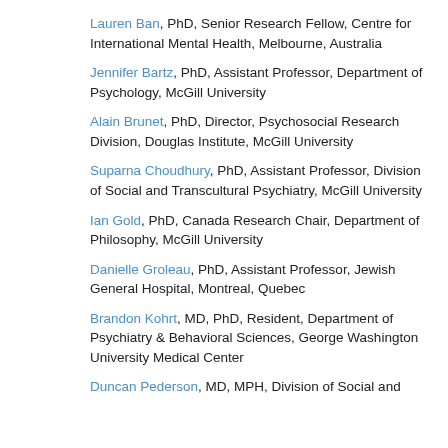Lauren Ban, PhD, Senior Research Fellow, Centre for International Mental Health, Melbourne, Australia
Jennifer Bartz, PhD, Assistant Professor, Department of Psychology, McGill University
Alain Brunet, PhD, Director, Psychosocial Research Division, Douglas Institute, McGill University
Suparna Choudhury, PhD, Assistant Professor, Division of Social and Transcultural Psychiatry, McGill University
Ian Gold, PhD, Canada Research Chair, Department of Philosophy, McGill University
Danielle Groleau, PhD, Assistant Professor, Jewish General Hospital, Montreal, Quebec
Brandon Kohrt, MD, PhD, Resident, Department of Psychiatry & Behavioral Sciences, George Washington University Medical Center
Duncan Pederson, MD, MPH, Division of Social and